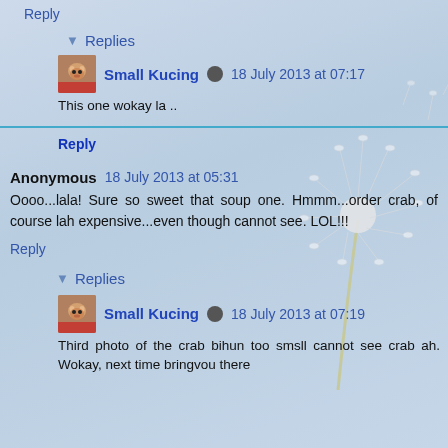Reply
▼ Replies
Small Kucing  18 July 2013 at 07:17
This one wokay la ..
Reply
Anonymous  18 July 2013 at 05:31
Oooo...lala! Sure so sweet that soup one. Hmmm...order crab, of course lah expensive...even though cannot see. LOL!!!
Reply
▼ Replies
Small Kucing  18 July 2013 at 07:19
Third photo of the crab bihun too smsll cannot see crab ah. Wokay, next time bringvou there